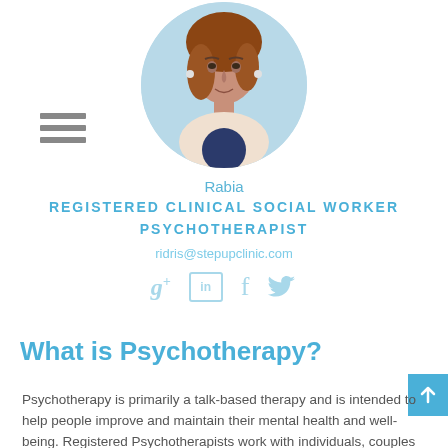[Figure (photo): Profile photo of Rabia, a woman with auburn hair, in a circular frame with light blue background]
Rabia
REGISTERED CLINICAL SOCIAL WORKER PSYCHOTHERAPIST
ridris@stepupclinic.com
[Figure (other): Social media icons: Google+, LinkedIn, Facebook, Twitter]
What is Psychotherapy?
Psychotherapy is primarily a talk-based therapy and is intended to help people improve and maintain their mental health and well-being. Registered Psychotherapists work with individuals, couples